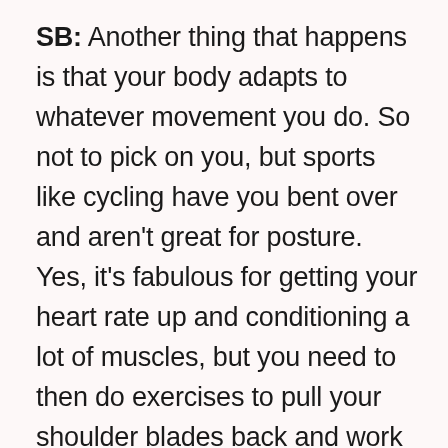SB: Another thing that happens is that your body adapts to whatever movement you do. So not to pick on you, but sports like cycling have you bent over and aren't great for posture. Yes, it's fabulous for getting your heart rate up and conditioning a lot of muscles, but you need to then do exercises to pull your shoulder blades back and work on the underused hip muscles that cycling doesn't use. No sport uses all of the body, so we always need to add in a little something to